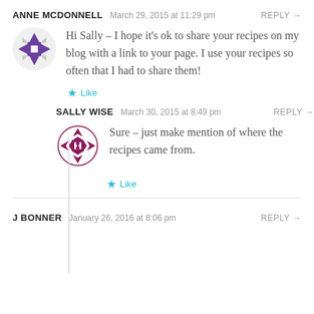ANNE MCDONNELL   March 29, 2015 at 11:29 pm   REPLY →
Hi Sally – I hope it's ok to share your recipes on my blog with a link to your page. I use your recipes so often that I had to share them!
★ Like
SALLY WISE   March 30, 2015 at 8:49 pm   REPLY →
Sure – just make mention of where the recipes came from.
★ Like
J BONNER   January 26, 2016 at 8:06 pm   REPLY →